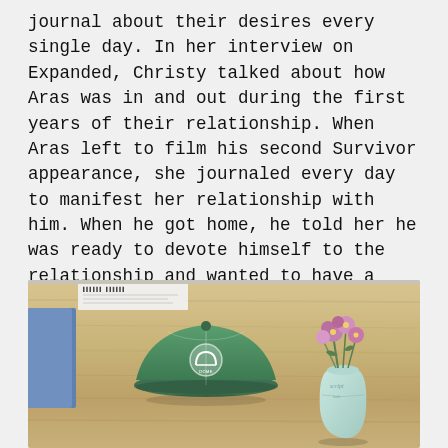journal about their desires every single day. In her interview on Expanded, Christy talked about how Aras was in and out during the first years of their relationship. When Aras left to film his second Survivor appearance, she journaled every day to manifest her relationship with him. When he got home, he told her he was ready to devote himself to the relationship and wanted to have a baby with her. Phillips hmmmm'd in understanding. Christy practiced manifestation, became worthy of the Universe, and got what she'd called in.
[Figure (photo): A wooden table surface with a green baseball cap featuring a dome/arch logo in the center, a light mint/white vase with purple/pink flowers on the right, and the edge of a blue book or item on the left. A small paper with printed text is visible at the top left.]